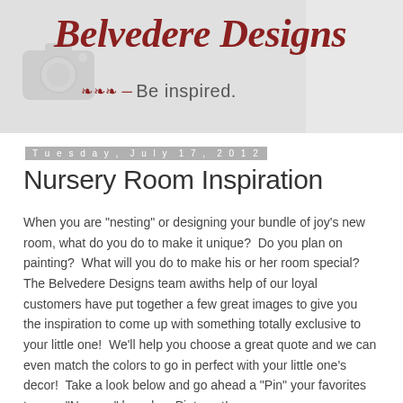[Figure (logo): Belvedere Designs logo with camera icon, dark red script text and tagline 'Be inspired.' on grey banner background]
Tuesday, July 17, 2012
Nursery Room Inspiration
When you are "nesting" or designing your bundle of joy's new room, what do you do to make it unique?  Do you plan on painting?  What will you do to make his or her room special?  The Belvedere Designs team awiths help of our loyal customers have put together a few great images to give you the inspiration to come up with something totally exclusive to your little one!  We'll help you choose a great quote and we can even match the colors to go in perfect with your little one's decor!  Take a look below and go ahead a "Pin" your favorites to your "Nursery" board on Pinterest!